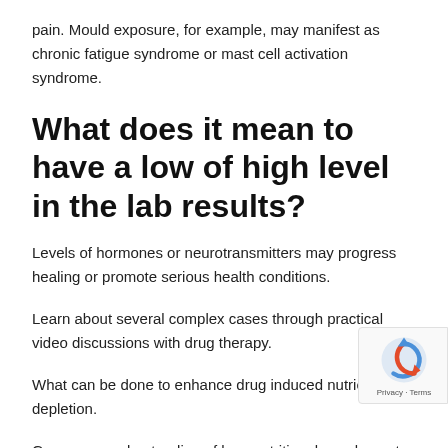pain. Mould exposure, for example, may manifest as chronic fatigue syndrome or mast cell activation syndrome.
What does it mean to have a low of high level in the lab results?
Levels of hormones or neurotransmitters may progress healing or promote serious health conditions.
Learn about several complex cases through practical video discussions with drug therapy.
What can be done to enhance drug induced nutrient depletion.
Grow your understanding of how nutritional supplements or compounded medicines can influence and alleviate sympt
Herbs, minerals, amino acids and nutrients influence every